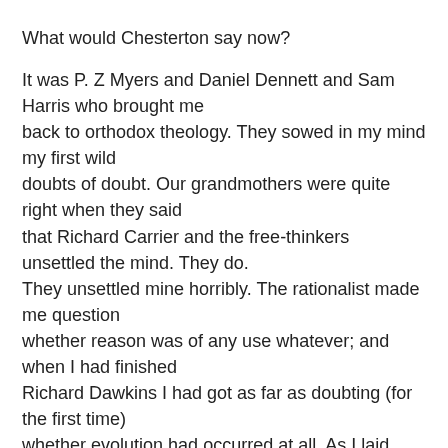What would Chesterton say now?
It was P. Z Myers and Daniel Dennett and Sam Harris who brought me back to orthodox theology. They sowed in my mind my first wild doubts of doubt. Our grandmothers were quite right when they said that Richard Carrier and the free-thinkers unsettled the mind. They do. They unsettled mine horribly. The rationalist made me question whether reason was of any use whatever; and when I had finished Richard Dawkins I had got as far as doubting (for the first time) whether evolution had occurred at all. As I laid down the last of John W. Loftus' atheistic lectures the dreadful thought broke across my mind, "Almost thou persuadest me to be a Christian." I was